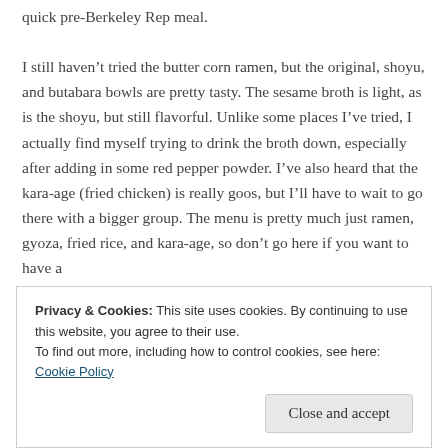quick pre-Berkeley Rep meal. I still haven't tried the butter corn ramen, but the original, shoyu, and butabara bowls are pretty tasty. The sesame broth is light, as is the shoyu, but still flavorful. Unlike some places I've tried, I actually find myself trying to drink the broth down, especially after adding in some red pepper powder. I've also heard that the kara-age (fried chicken) is really goos, but I'll have to wait to go there with a bigger group. The menu is pretty much just ramen, gyoza, fried rice, and kara-age, so don't go here if you want to have a
Privacy & Cookies: This site uses cookies. By continuing to use this website, you agree to their use. To find out more, including how to control cookies, see here: Cookie Policy
Close and accept